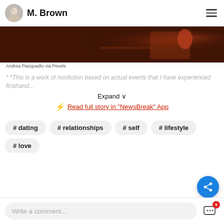M. Brown
[Figure (photo): Dark warm-toned photo of a restaurant/dinner table scene with reddish candlelight, partially visible]
Andrea Piacquadio via Pexels
* *This is a work of nonfiction based on actual events that I have experienced firsthand...
Expand
Read full story in "NewsBreak" App
# dating
# relationships
# self
# lifestyle
# love
Write a comment...